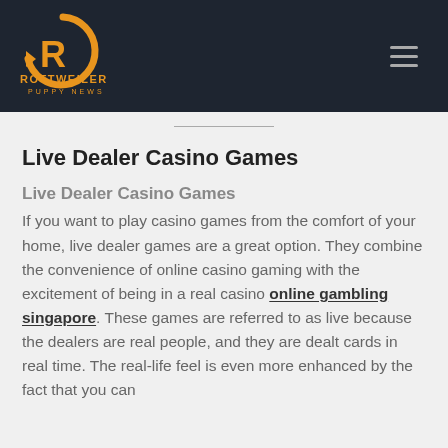ROTTWEILER PUPPY NEWS
Live Dealer Casino Games
Live Dealer Casino Games
If you want to play casino games from the comfort of your home, live dealer games are a great option. They combine the convenience of online casino gaming with the excitement of being in a real casino online gambling singapore. These games are referred to as live because the dealers are real people, and they are dealt cards in real time. The real-life feel is even more enhanced by the fact that you can